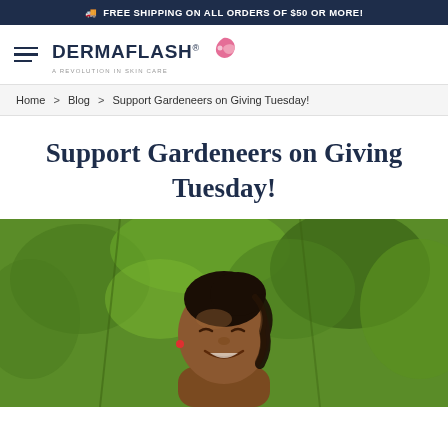FREE SHIPPING ON ALL ORDERS OF $50 OR MORE!
[Figure (logo): DERMAFLASH logo with hummingbird icon and tagline 'A REVOLUTION IN SKIN CARE']
Home > Blog > Support Gardeneers on Giving Tuesday!
Support Gardeneers on Giving Tuesday!
[Figure (photo): A smiling young Black girl with braided hair in front of green garden foliage]